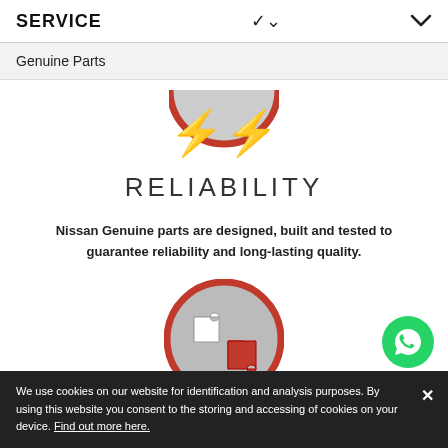SERVICE
Genuine Parts
[Figure (illustration): Partial circular icon with red border showing lightning bolt / warranty symbol, cropped at top]
RELIABILITY
Nissan Genuine parts are designed, built and tested to guarantee reliability and long-lasting quality.
[Figure (illustration): Circular icon with red border showing two puzzle pieces (one white, one red) on grey background representing compatibility/fit]
[Figure (illustration): Green WhatsApp chat button circle in bottom right corner]
We use cookies on our website for identification and analysis purposes. By using this website you consent to the storing and accessing of cookies on your device. Find out more here.